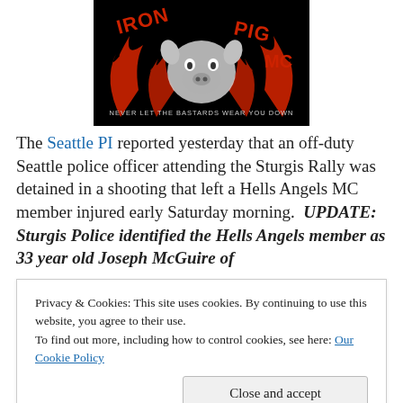[Figure (logo): Iron Pig MC logo on black background with flames, skull/pig imagery, and text 'NEVER LET THE BASTARDS WEAR YOU DOWN']
The Seattle PI reported yesterday that an off-duty Seattle police officer attending the Sturgis Rally was detained in a shooting that left a Hells Angels MC member injured early Saturday morning.  UPDATE: Sturgis Police identified the Hells Angels member as 33 year old Joseph McGuire of
Privacy & Cookies: This site uses cookies. By continuing to use this website, you agree to their use.
To find out more, including how to control cookies, see here: Our Cookie Policy
at the Loud American Roadhouse between the Hell's